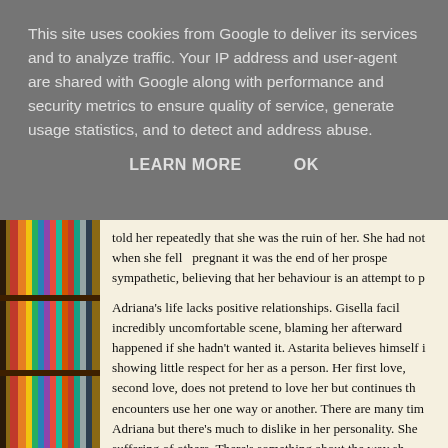This site uses cookies from Google to deliver its services and to analyze traffic. Your IP address and user-agent are shared with Google along with performance and security metrics to ensure quality of service, generate usage statistics, and to detect and address abuse.
LEARN MORE    OK
told her repeatedly that she was the ruin of her. She had not when she fell  pregnant it was the end of her prospe sympathetic, believing that her behaviour is an attempt to p
Adriana's life lacks positive relationships. Gisella facil incredibly uncomfortable scene, blaming her afterward happened if she hadn't wanted it. Astarita believes himself i showing little respect for her as a person. Her first love, second love, does not pretend to love her but continues th encounters use her one way or another. There are many tim Adriana but there's much to dislike in her personality. She suffering of others. There's something about the way sh though the author hasn't successfully encapsulated the reali